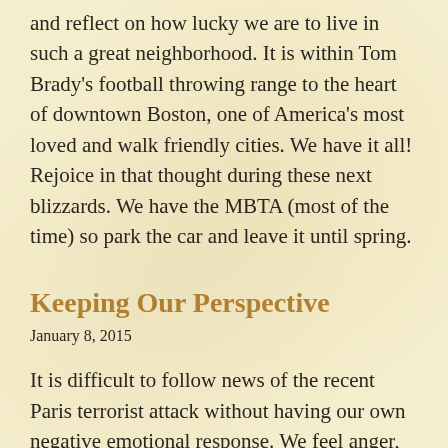and reflect on how lucky we are to live in such a great neighborhood. It is within Tom Brady's football throwing range to the heart of downtown Boston, one of America's most loved and walk friendly cities. We have it all! Rejoice in that thought during these next blizzards. We have the MBTA (most of the time) so park the car and leave it until spring.
Keeping Our Perspective
January 8, 2015
It is difficult to follow news of the recent Paris terrorist attack without having our own negative emotional response. We feel anger, disgust at the barbarity of the event, helplessness, and yes, even fear. We again